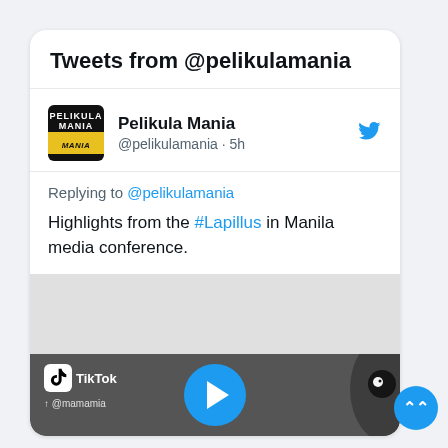Tweets from @pelikulamania
Pelikula Mania @pelikulamania · 5h
Replying to @pelikulamania
Highlights from the #Lapillus in Manila media conference.
[Figure (screenshot): TikTok video thumbnail showing black and white image of a person, with TikTok logo, play button overlay, and @mamamia watermark]